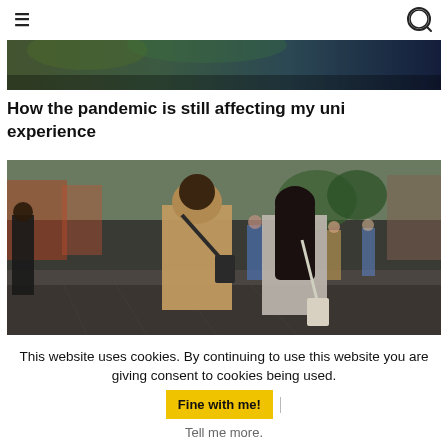≡  [search icon]
[Figure (photo): Top strip image — partial view of an outdoor scene, partially cropped at top]
How the pandemic is still affecting my uni experience
[Figure (photo): Street scene photo showing two people from behind walking through a busy shopping street. Person on left wearing a beige hoodie with a crossbody bag, person on right with long dark hair wearing a light-colored top. Other pedestrians visible in background.]
This website uses cookies. By continuing to use this website you are giving consent to cookies being used.  Fine with me! |
Tell me more.